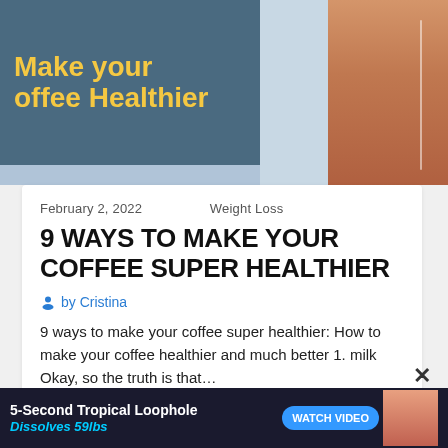[Figure (illustration): Banner image showing partial text 'Make your coffee Healthier' in yellow on dark teal background on the left, and a cropped photo of person's legs/torso on the right against light blue background]
February 2, 2022    Weight Loss
9 WAYS TO MAKE YOUR COFFEE SUPER HEALTHIER
by Cristina
9 ways to make your coffee super healthier: How to make your coffee healthier and much better 1. milk Okay, so the truth is that…
Read More
[Figure (illustration): Bottom advertisement banner: '5-Second Tropical Loophole Dissolves 59lbs' with WATCH VIDEO button and figure image]